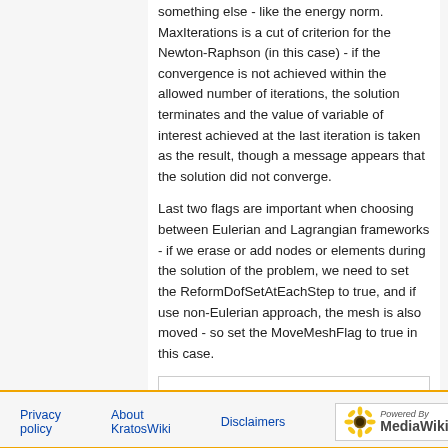something else - like the energy norm. MaxIterations is a cut of criterion for the Newton-Raphson (in this case) - if the convergence is not achieved within the allowed number of iterations, the solution terminates and the value of variable of interest achieved at the last iteration is taken as the result, though a message appears that the solution did not converge.
Last two flags are important when choosing between Eulerian and Lagrangian frameworks - if we erase or add nodes or elements during the solution of the problem, we need to set the ReformDofSetAtEachStep to true, and if use non-Eulerian approach, the mesh is also moved - so set the MoveMeshFlag to true in this case.
Category: How To
Privacy policy   About KratosWiki   Disclaimers